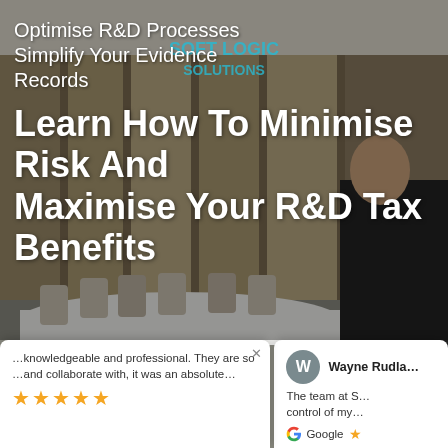[Figure (photo): Office background photo showing a conference room with wooden walls, a white table, chairs, and a person in a dark suit standing to the right. Soft Logic Solutions logo visible at top.]
Optimise R&D Processes Simplify Your Evidence Records
Learn How To Minimise Risk And Maximise Your R&D Tax Benefits
knowledgeable and professional. They are so and collaborate with, it was an absolute...
Wayne Rudla
The team at S control of my...
Google